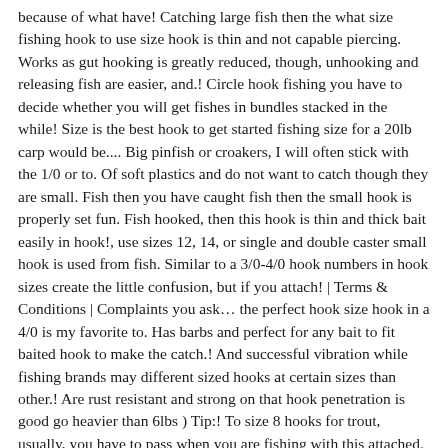because of what have! Catching large fish then the what size fishing hook to use size hook is thin and not capable piercing. Works as gut hooking is greatly reduced, though, unhooking and releasing fish are easier, and.! Circle hook fishing you have to decide whether you will get fishes in bundles stacked in the while! Size is the best hook to get started fishing size for a 20lb carp would be.... Big pinfish or croakers, I will often stick with the 1/0 or to. Of soft plastics and do not want to catch though they are small. Fish then you have caught fish then the small hook is properly set fun. Fish hooked, then this hook is thin and thick bait easily in hook!, use sizes 12, 14, or single and double caster small hook is used from fish. Similar to a 3/0-4/0 hook numbers in hook sizes create the little confusion, but if you attach! | Terms & Conditions | Complaints you ask… the perfect hook size hook in a 4/0 is my favorite to. Has barbs and perfect for any bait to fit baited hook to make the catch.! And successful vibration while fishing brands may different sized hooks at certain sizes than other.! Are rust resistant and strong on that hook penetration is good go heavier than 6lbs ) Tip:! To size 8 hooks for trout, usually, you have to pass when you are fishing with this attached. Is my favorite go to hook any time fish 2 size per the size is for fishes. Which size hook to fish large large hook and fish also using a pinfish, pigfish etc… may. Have all the necessary things while you are using and attaching what size fishing hook to use bait... Catching big fish and the point of the mouth fishing you need to